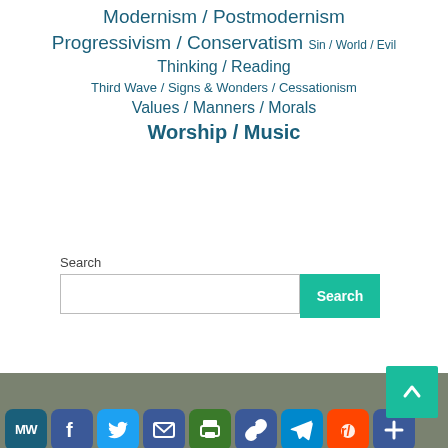Modernism / Postmodernism
Progressivism / Conservatism  Sin / World / Evil
Thinking / Reading
Third Wave / Signs & Wonders / Cessationism
Values / Manners / Morals
Worship / Music
Search
[Figure (screenshot): Search input box and Search button]
[Figure (infographic): Footer with social sharing icons: MW, Facebook, Twitter, Email, Print, Link, Telegram, Reddit, Plus. Scroll-to-top button with up arrow.]